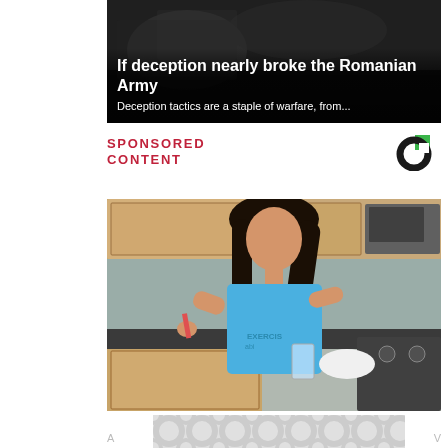[Figure (photo): Dark military/war themed background image with article title overlay]
If deception nearly broke the Romanian Army
Deception tactics are a staple of warfare, from...
SPONSORED CONTENT
[Figure (logo): Sponsored content logo - circular C shape with green and black]
[Figure (photo): Woman in kitchen wearing blue shirt, preparing food or drink]
[Figure (other): Advertisement banner with circular pattern]
A
V